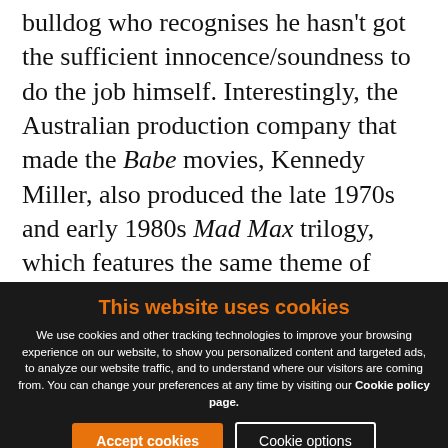bulldog who recognises he hasn't got the sufficient innocence/soundness to do the job himself. Interestingly, the Australian production company that made the Babe movies, Kennedy Miller, also produced the late 1970s and early 1980s Mad Max trilogy, which features the same theme of unrecognised (because the world practises evading and denying truthful unevasiveness) innocence taking on the alienated
This website uses cookies
We use cookies and other tracking technologies to improve your browsing experience on our website, to show you personalized content and targeted ads, to analyze our website traffic, and to understand where our visitors are coming from. You can change your preferences at any time by visiting our Cookie policy page.